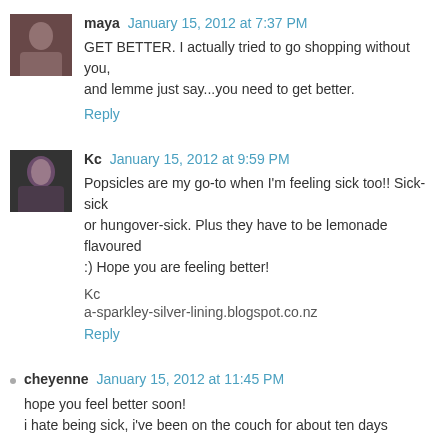maya January 15, 2012 at 7:37 PM
GET BETTER. I actually tried to go shopping without you, and lemme just say...you need to get better.
Reply
Kc January 15, 2012 at 9:59 PM
Popsicles are my go-to when I'm feeling sick too!! Sick-sick or hungover-sick. Plus they have to be lemonade flavoured :) Hope you are feeling better!
Kc
a-sparkley-silver-lining.blogspot.co.nz
Reply
cheyenne January 15, 2012 at 11:45 PM
hope you feel better soon! i hate being sick, i've been on the couch for about ten days